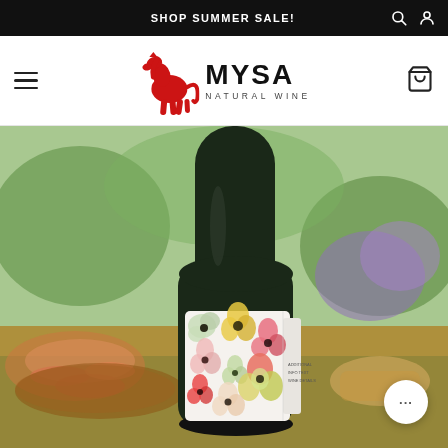SHOP SUMMER SALE!
[Figure (logo): MYSA Natural Wine logo featuring a red horse silhouette and the text MYSA NATURAL WINE]
[Figure (photo): A dark wine bottle with a white floral label featuring colorful flower illustrations, displayed on a wooden surface with a charcuterie board and blurred floral background]